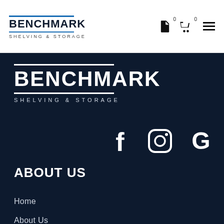[Figure (logo): Benchmark Shelving & Storage logo in header, dark text with blue underline bars]
[Figure (infographic): Header icons: document icon with badge 0, shopping cart icon with badge 0, hamburger menu icon]
[Figure (logo): Benchmark Shelving & Storage logo in dark footer section, white text with white bars]
[Figure (infographic): Social media icons: Facebook f, Instagram camera, Google G — all white on dark navy background]
ABOUT US
Home
About Us
FAQs
Contact Us